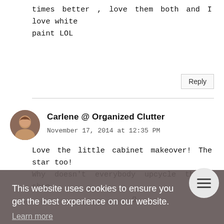times better , love them both and I love white paint LOL
Reply
Carlene @ Organized Clutter
November 17, 2014 at 12:35 PM
Love the little cabinet makeover! The star too! Why doesn't everybody upcycle thrift shop g.
Reply
This website uses cookies to ensure you get the best experience on our website.
Learn more
Got it!